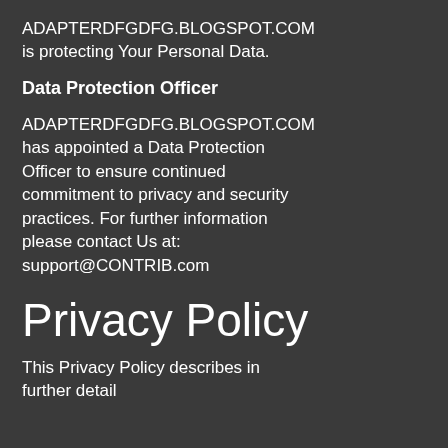ADAPTERDFGDFG.BLOGSPOT.COM is protecting Your Personal Data.
Data Protection Officer
ADAPTERDFGDFG.BLOGSPOT.COM has appointed a Data Protection Officer to ensure continued commitment to privacy and security practices. For further information please contact Us at: support@CONTRIB.com
Privacy Policy
This Privacy Policy describes in further detail